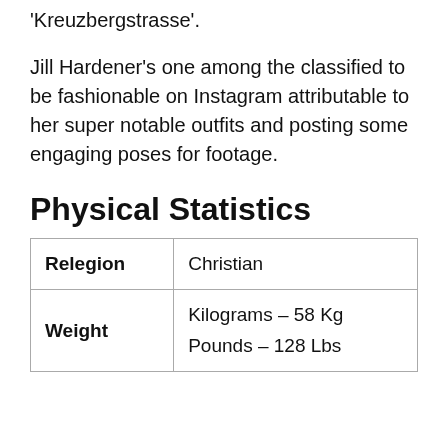'Kreuzbergstrasse'.
Jill Hardener's one among the classified to be fashionable on Instagram attributable to her super notable outfits and posting some engaging poses for footage.
Physical Statistics
|  |  |
| --- | --- |
| Relegion | Christian |
| Weight | Kilograms –  58 Kg
Pounds –  128 Lbs |